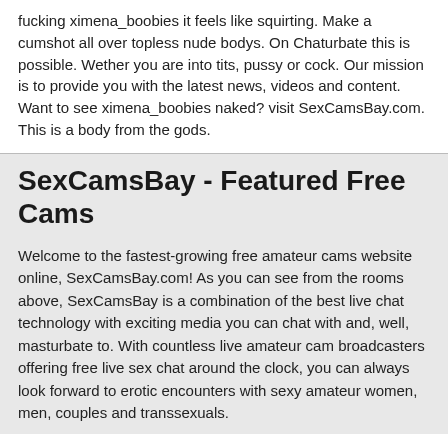fucking ximena_boobies it feels like squirting. Make a cumshot all over topless nude bodys. On Chaturbate this is possible. Wether you are into tits, pussy or cock. Our mission is to provide you with the latest news, videos and content. Want to see ximena_boobies naked? visit SexCamsBay.com. This is a body from the gods.
SexCamsBay - Featured Free Cams
Welcome to the fastest-growing free amateur cams website online, SexCamsBay.com! As you can see from the rooms above, SexCamsBay is a combination of the best live chat technology with exciting media you can chat with and, well, masturbate to. With countless live amateur cam broadcasters offering free live sex chat around the clock, you can always look forward to erotic encounters with sexy amateur women, men, couples and transsexuals.
Watch Unlimited Free Live Amateur Sex Cams